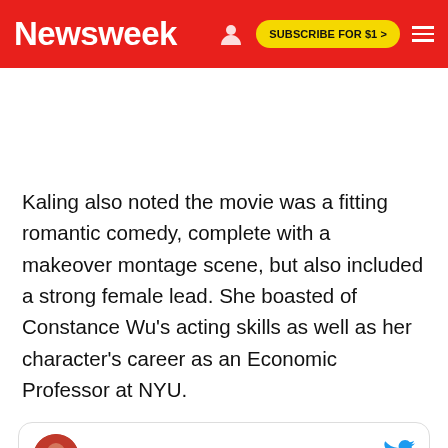Newsweek
Kaling also noted the movie was a fitting romantic comedy, complete with a makeover montage scene, but also included a strong female lead. She boasted of Constance Wu's acting skills as well as her character's career as an Economic Professor at NYU.
Mindy Kaling